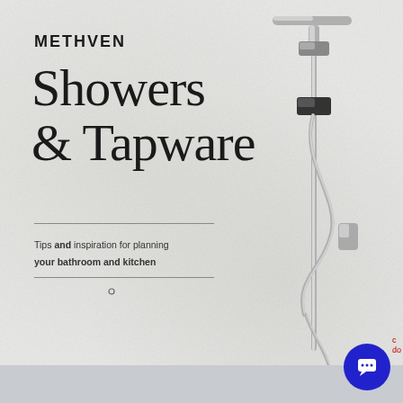METHVEN
Showers & Tapware
Tips and inspiration for planning your bathroom and kitchen
[Figure (photo): Chrome shower system with overhead T-bar shower head, sliding rail, handheld shower head, hose, and holder mounted against a light grey textured stone/concrete wall background.]